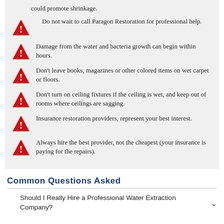could promote shrinkage.
Do not wait to call Paragon Restoration for professional help.
Damage from the water and bacteria growth can begin within hours.
Don't leave books, magazines or other colored items on wet carpet or floors.
Don't turn on ceiling fixtures if the ceiling is wet, and keep out of rooms where ceilings are sagging.
Insurance restoration providers, represent your best interest.
Always hire the best provider, not the cheapest (your insurance is paying for the repairs).
Common Questions Asked
Should I Really Hire a Professional Water Extraction Company?